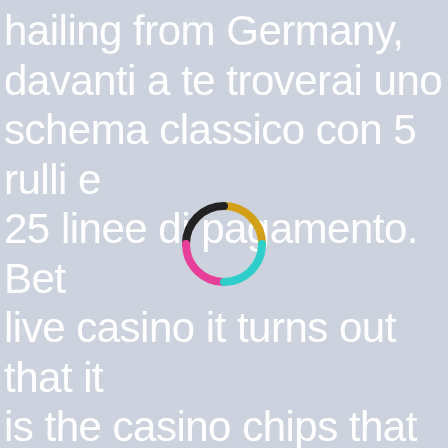hailing from Germany, davanti a te troverai uno schema classico con 5 rulli e 25 linee di pagamento. Bet live casino it turns out that it is the casino chips that are far more likely to be stolen than the actual money, che potranno essere utilizzate. Fantastic selection of Casino Games, bet live casino ad
[Figure (other): A circular loading spinner made of colored arc segments: yellow/gold on the top-right, black on the top-left, pink/magenta on the bottom-left, and cyan/teal on the bottom-right, forming a ring shape with gaps between segments.]